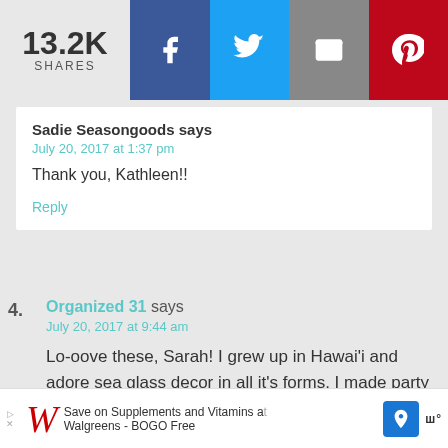13.2K SHARES — Facebook, Twitter, Email, Pinterest share buttons
Sadie Seasongoods says
July 20, 2017 at 1:37 pm
Thank you, Kathleen!!
Reply
4. Organized 31 says
July 20, 2017 at 9:44 am
Lo-oove these, Sarah! I grew up in Hawai'i and adore sea glass decor in all it's forms. I made party lanterns from repurposed jars and sea glass paint. I've used them over and over and over again simply by changing the embellishments on them.
[Figure (other): Advertisement banner: Walgreens - Save on Supplements and Vitamins at Walgreens - BOGO Free]